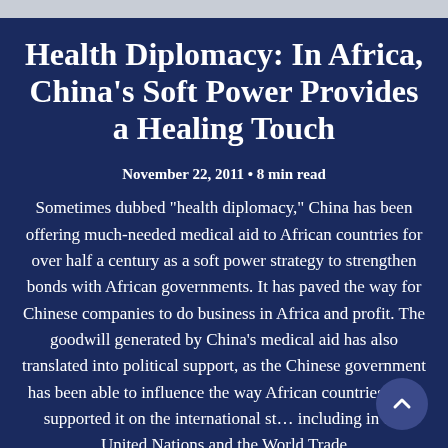Health Diplomacy: In Africa, China's Soft Power Provides a Healing Touch
November 22, 2011 • 8 min read
Sometimes dubbed "health diplomacy," China has been offering much-needed medical aid to African countries for over half a century as a soft power strategy to strengthen bonds with African governments. It has paved the way for Chinese companies to do business in Africa and profit. The goodwill generated by China's medical aid has also translated into political support, as the Chinese government has been able to influence the way African countries have supported it on the international stage, including in the United Nations and the World Trade